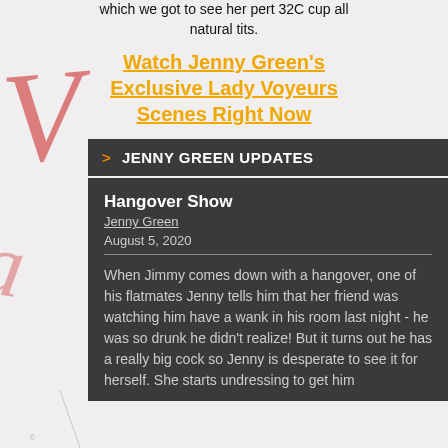which we got to see her pert 32C cup all natural tits.
Watch Jenny Green's Exclusive Lady Voyeurs Scenes Right Now
> JENNY GREEN UPDATES
Hangover Show
Jenny Green
August 5, 2020
When Jimmy comes down with a hangover, one of his flatmates Jenny tells him that her friend was watching him have a wank in his room last night - he was so drunk he didn't realize! But it turns out he has a really big cock so Jenny is desperate to see it for herself. She starts undressing to get him